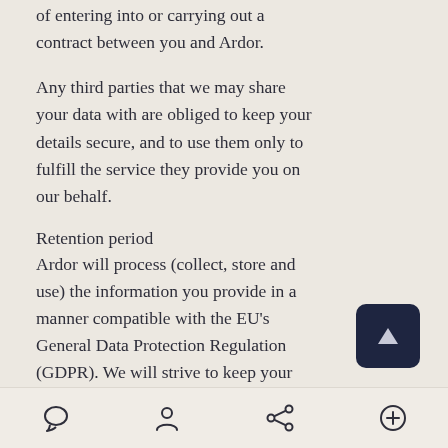of entering into or carrying out a contract between you and Ardor.
Any third parties that we may share your data with are obliged to keep your details secure, and to use them only to fulfill the service they provide you on our behalf.
Retention period
Ardor will process (collect, store and use) the information you provide in a manner compatible with the EU's General Data Protection Regulation (GDPR). We will strive to keep your information accurate and up to date, and not keep it for longer than is necessary.